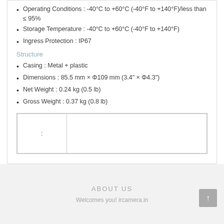Operating Conditions : -40°C to +60°C (-40°F to +140°F)/less than ≤ 95%
Storage Temperature : -40°C to +60°C (-40°F to +140°F)
Ingress Protection : IP67
Structure
Casing : Metal + plastic
Dimensions : 85.5 mm × Φ109 mm (3.4" × Φ4.3")
Net Weight : 0.24 kg (0.5 lb)
Gross Weight : 0.37 kg (0.8 lb)
|  :  |  |
ABOUT US
Welcomes you! ircamera.in